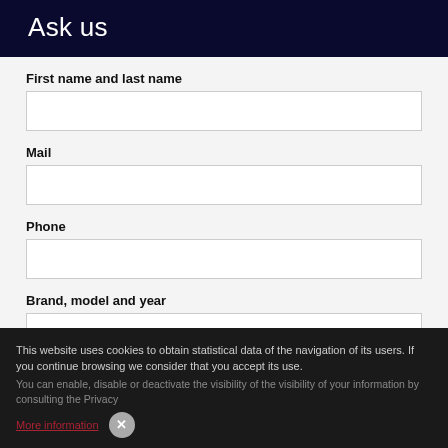Ask us
First name and last name
Mail
Phone
Brand, model and year
Question
This website uses cookies to obtain statistical data of the navigation of its users. If you continue browsing we consider that you accept its use.
You can enable, disable or deactivate the visibility of your information by consulting the Privacy
More information